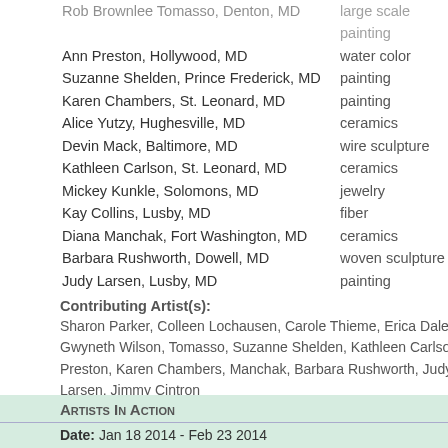Rob Brownlee Tomasso, Denton, MD — large scale painting
Ann Preston, Hollywood, MD — water color
Suzanne Shelden, Prince Frederick, MD — painting
Karen Chambers, St. Leonard, MD — painting
Alice Yutzy, Hughesville, MD — ceramics
Devin Mack, Baltimore, MD — wire sculpture
Kathleen Carlson, St. Leonard, MD — ceramics
Mickey Kunkle, Solomons, MD — jewelry
Kay Collins, Lusby, MD — fiber
Diana Manchak, Fort Washington, MD — ceramics
Barbara Rushworth, Dowell, MD — woven sculpture
Judy Larsen, Lusby, MD — painting
Contributing Artist(s): Sharon Parker, Colleen Lochausen, Carole Thieme, Erica Daley, Gwyneth Wilson, Tomasso, Suzanne Shelden, Kathleen Carlson, Ann Preston, Karen Chambers, Manchak, Barbara Rushworth, Judy Larsen, Jimmy Cintron
Artists In Action
Date:  Jan 18 2014 - Feb 23 2014
Mar 2 2014 - Mar 9 2014